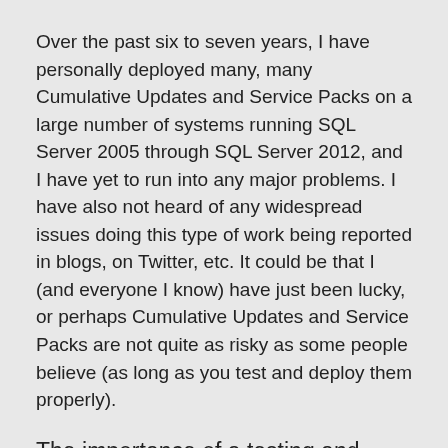Over the past six to seven years, I have personally deployed many, many Cumulative Updates and Service Packs on a large number of systems running SQL Server 2005 through SQL Server 2012, and I have yet to run into any major problems. I have also not heard of any widespread issues doing this type of work being reported in blogs, on Twitter, etc. It could be that I (and everyone I know) have just been lucky, or perhaps Cumulative Updates and Service Packs are not quite as risky as some people believe (as long as you test and deploy them properly).
The importance of a testing and implementation plan
Unless you never plan on doing any sort of server maintenance or application updates for the life of your system (which seems like an unlikely proposition), you really need to develop some sort of testing and implementation procedure and plan that